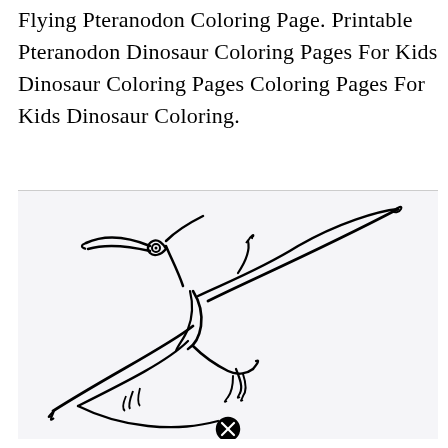Flying Pteranodon Coloring Page. Printable Pteranodon Dinosaur Coloring Pages For Kids Dinosaur Coloring Pages Coloring Pages For Kids Dinosaur Coloring.
[Figure (illustration): Black and white line drawing of a flying Pteranodon dinosaur for coloring. The pteranodon is depicted in flight with wings spread, long beak pointing upward-left, small clawed feet visible, and a long tail. A black circled X (close button) appears at the bottom center.]